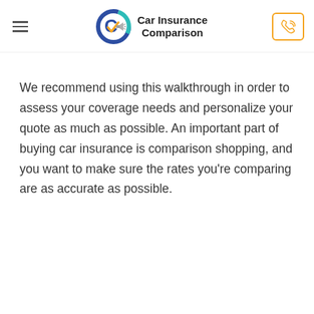Car Insurance Comparison
We recommend using this walkthrough in order to assess your coverage needs and personalize your quote as much as possible. An important part of buying car insurance is comparison shopping, and you want to make sure the rates you're comparing are as accurate as possible.